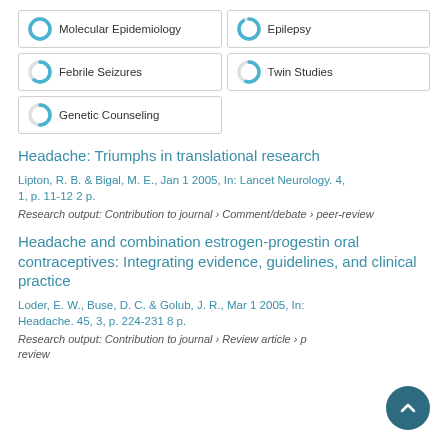[Figure (infographic): Five keyword tags with donut-style icons: Molecular Epidemiology (full circle ~100%), Epilepsy (~90%), Febrile Seizures (~60%), Twin Studies (~55%), Genetic Counseling (~50%)]
Headache: Triumphs in translational research
Lipton, R. B. & Bigal, M. E., Jan 1 2005, In: Lancet Neurology. 4, 1, p. 11-12 2 p.
Research output: Contribution to journal › Comment/debate › peer-review
Headache and combination estrogen-progestin oral contraceptives: Integrating evidence, guidelines, and clinical practice
Loder, E. W., Buse, D. C. & Golub, J. R., Mar 1 2005, In: Headache. 45, 3, p. 224-231 8 p.
Research output: Contribution to journal › Review article › peer-review